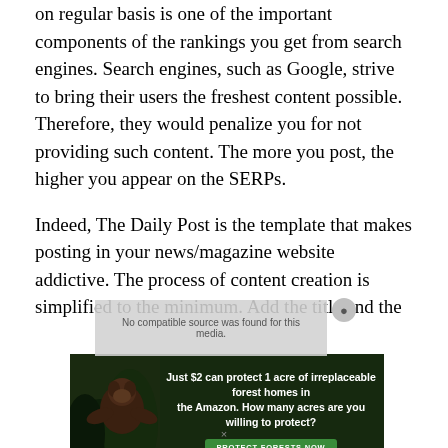on regular basis is one of the important components of the rankings you get from search engines. Search engines, such as Google, strive to bring their users the freshest content possible. Therefore, they would penalize you for not providing such content. The more you post, the higher you appear on the SERPs.
Indeed, The Daily Post is the template that makes posting in your news/magazine website addictive. The process of content creation is simplified to the minimum. Add the title and the
[Figure (other): An advertisement banner for Amazon forest protection. Text reads: 'Just $2 can protect 1 acre of irreplaceable forest homes in the Amazon. How many acres are you willing to protect?' with a 'PROTECT FORESTS NOW' green button. Background shows forest/animal imagery.]